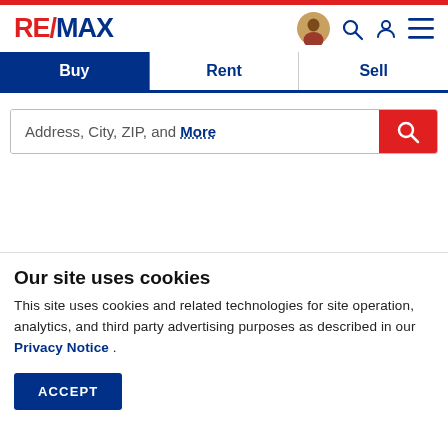RE/MAX
[Figure (screenshot): Navigation tab bar with Buy (active), Rent, and Sell tabs]
[Figure (screenshot): Search input box with placeholder 'Address, City, ZIP, and More' and red search button]
Our site uses cookies
This site uses cookies and related technologies for site operation, analytics, and third party advertising purposes as described in our Privacy Notice .
ACCEPT